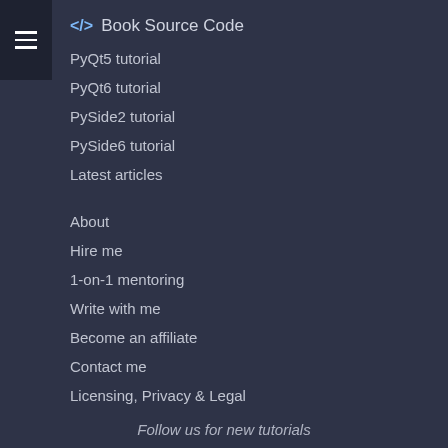[Figure (other): Hamburger menu icon (three horizontal lines) on dark sidebar]
</> Book Source Code
PyQt5 tutorial
PyQt6 tutorial
PySide2 tutorial
PySide6 tutorial
Latest articles
About
Hire me
1-on-1 mentoring
Write with me
Become an affiliate
Contact me
Licensing, Privacy & Legal
Follow us for new tutorials